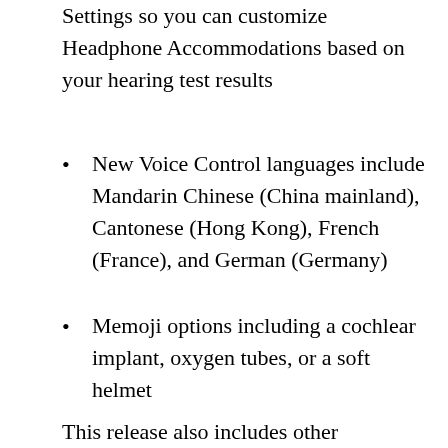Settings so you can customize Headphone Accommodations based on your hearing test results
New Voice Control languages include Mandarin Chinese (China mainland), Cantonese (Hong Kong), French (France), and German (Germany)
Memoji options including a cochlear implant, oxygen tubes, or a soft helmet
This release also includes other